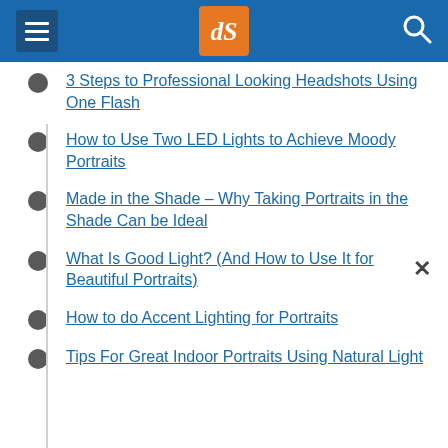dPS navigation header
3 Steps to Professional Looking Headshots Using One Flash
How to Use Two LED Lights to Achieve Moody Portraits
Made in the Shade – Why Taking Portraits in the Shade Can be Ideal
What Is Good Light? (And How to Use It for Beautiful Portraits)
How to do Accent Lighting for Portraits
Tips For Great Indoor Portraits Using Natural Light